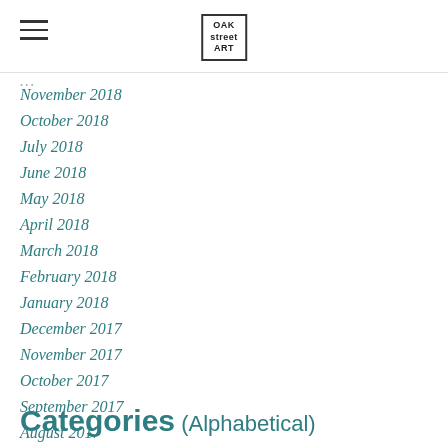OAK street ART
November 2018
October 2018
July 2018
June 2018
May 2018
April 2018
March 2018
February 2018
January 2018
December 2017
November 2017
October 2017
September 2017
August 2017
July 2017
Categories (Alphabetical)